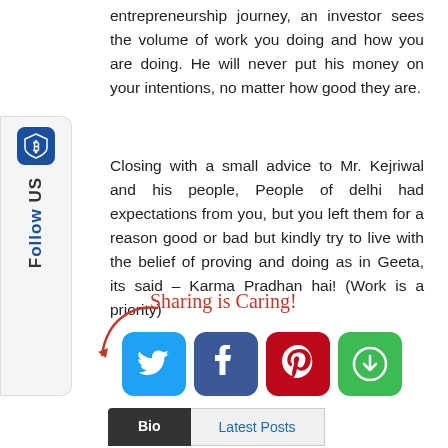[Figure (other): Follow Us sidebar widget with shield icon and vertical Follow Us text]
entrepreneurship journey, an investor sees the volume of work you doing and how you are doing. He will never put his money on your intentions, no matter how good they are.
Closing with a small advice to Mr. Kejriwal and his people, People of delhi had expectations from you, but you left them for a reason good or bad but kindly try to live with the belief of proving and doing as in Geeta, its said – Karma Pradhan hai! (Work is a priority)
[Figure (infographic): Sharing is Caring label in red cursive font with a red arrow pointing to social media icons (Twitter, Facebook, Pinterest, Save/ShareThis)]
[Figure (other): Bio and Latest Posts tab buttons at bottom of page]